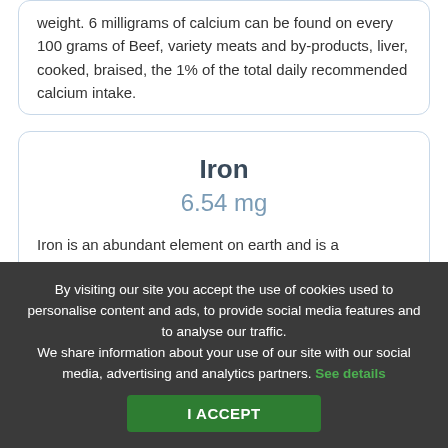weight. 6 milligrams of calcium can be found on every 100 grams of Beef, variety meats and by-products, liver, cooked, braised, the 1% of the total daily recommended calcium intake.
Iron
6.54 mg
Iron is an abundant element on earth and is a biologically essential component of every living organism which play an important role in processes that continuously take place on a molecular level, especially in the hemoglobin creation, a part of iron. It provides the recommended value
By visiting our site you accept the use of cookies used to personalise content and ads, to provide social media features and to analyse our traffic. We share information about your use of our site with our social media, advertising and analytics partners. See details
I ACCEPT